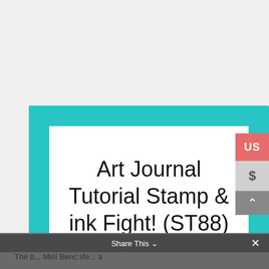[Figure (illustration): A teal-bordered rectangular card with white interior containing the text 'Art Journal Tutorial Stamp & ink Fight! (ST88)' in large sans-serif font. A coral/red 'US' badge and a dollar sign panel are visible on the right edge.]
DON'T RESIST ME!!!
Share This
The b... Mini Benc life... a